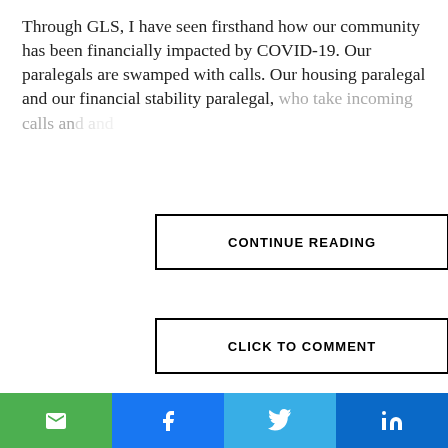Through GLS, I have seen firsthand how our community has been financially impacted by COVID-19. Our paralegals are swamped with calls. Our housing paralegal and our financial stability paralegal, who take incoming calls and...
CONTINUE READING
CLICK TO COMMENT
[Figure (screenshot): Subscribe to the Daily Spark newsletter signup box with teal accent bar reading 'Get the latest right to your phone' and a Name input field, on a dark navy background]
[Figure (infographic): Social sharing bar with four buttons: email (green), Facebook (blue), Twitter (light blue), LinkedIn (dark blue)]